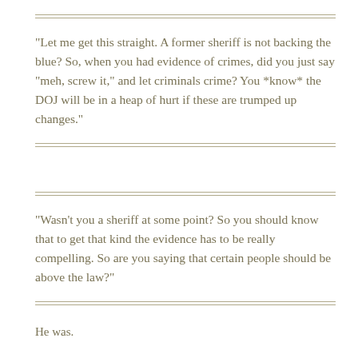“Let me get this straight. A former sheriff is not backing the blue? So, when you had evidence of crimes, did you just say “meh, screw it,” and let criminals crime? You *know* the DOJ will be in a heap of hurt if these are trumped up changes.”
“Wasn’t you a sheriff at some point? So you should know that to get that kind the evidence has to be really compelling. So are you saying that certain people should be above the law?”
He was.